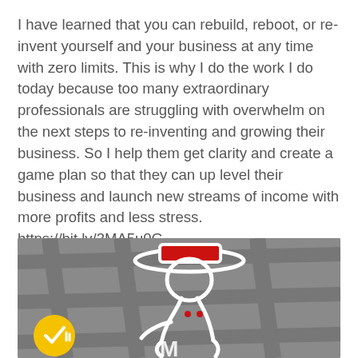I have learned that you can rebuild, reboot, or re-invent yourself and your business at any time with zero limits. This is why I do the work I do today because too many extraordinary professionals are struggling with overwhelm on the next steps to re-inventing and growing their business. So I help them get clarity and create a game plan so that they can up level their business and launch new streams of income with more profits and less stress. https://bit.ly/3MA5u0G
[Figure (logo): Gray background with white outlined figure of a person wearing a red hat, with the letters 'M' visible at the bottom, and a yellow circular badge with a checkmark icon in the lower left corner.]